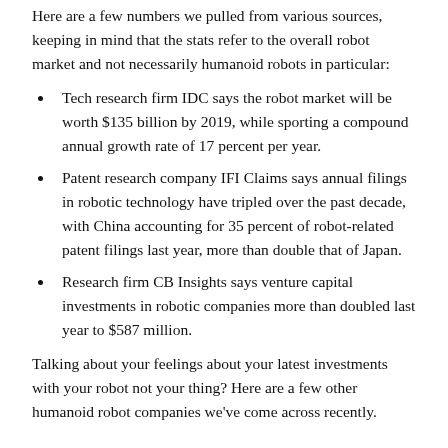Here are a few numbers we pulled from various sources, keeping in mind that the stats refer to the overall robot market and not necessarily humanoid robots in particular:
Tech research firm IDC says the robot market will be worth $135 billion by 2019, while sporting a compound annual growth rate of 17 percent per year.
Patent research company IFI Claims says annual filings in robotic technology have tripled over the past decade, with China accounting for 35 percent of robot-related patent filings last year, more than double that of Japan.
Research firm CB Insights says venture capital investments in robotic companies more than doubled last year to $587 million.
Talking about your feelings about your latest investments with your robot not your thing? Here are a few other humanoid robot companies we've come across recently.